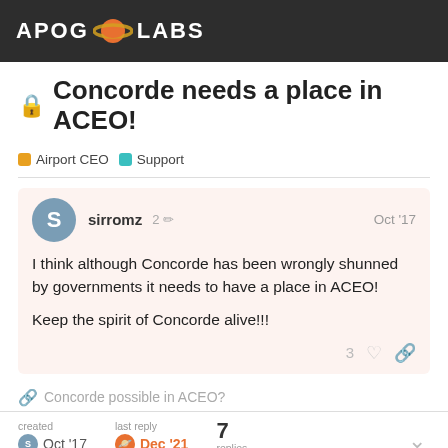APOG LABS
🔒 Concorde needs a place in ACEO!
Airport CEO  Support
sirromz  2✏  Oct '17
I think although Concorde has been wrongly shunned by governments it needs to have a place in ACEO!

Keep the spirit of Concorde alive!!!
🔗 Concorde possible in ACEO?
created Oct '17  last reply Dec '21  7 replies